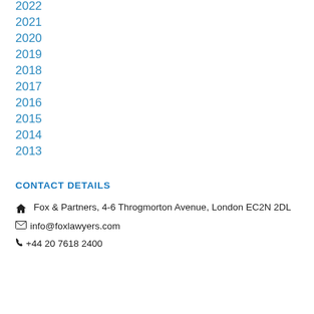2022
2021
2020
2019
2018
2017
2016
2015
2014
2013
CONTACT DETAILS
Fox & Partners, 4-6 Throgmorton Avenue, London EC2N 2DL
info@foxlawyers.com
+44 20 7618 2400